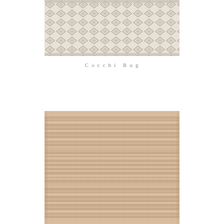[Figure (photo): Close-up photo of a rug with a geometric diamond/lattice pattern in light beige and grey tones. The weave shows a repeating diamond motif across the fabric.]
Cocchi Rug
[Figure (photo): Photo of a natural jute or hemp rug with horizontal stripe texture and a tan/beige coloring. The rug has a woven striped pattern typical of natural fiber rugs.]